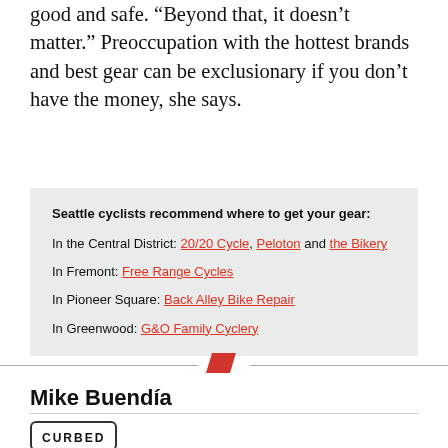good and safe. “Beyond that, it doesn’t matter.” Preoccupation with the hottest brands and best gear can be exclusionary if you don’t have the money, she says.
Seattle cyclists recommend where to get your gear: In the Central District: 20/20 Cycle, Peloton and the Bikery. In Fremont: Free Range Cycles. In Pioneer Square: Back Alley Bike Repair. In Greenwood: G&O Family Cyclery.
[Figure (other): Red parallelogram/chevron divider icon between two horizontal lines]
Mike Buendía
[Figure (logo): Curbed Seattle logo: text CURBED inside a rounded rectangle border, with SEATTLE below]